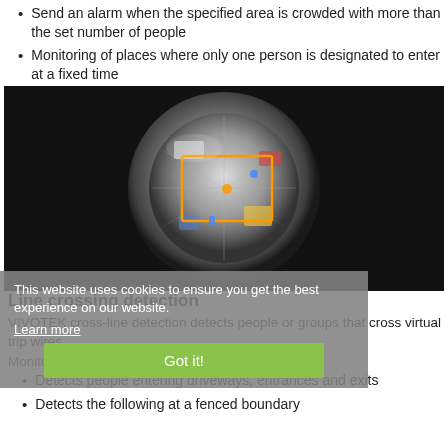Send an alarm when the specified area is crowded with more than the set number of people
Monitoring of places where only one person is designated to enter at a fixed time
[Figure (photo): Fisheye camera view of an indoor area (top-down circular view) with an orange bounding box overlay showing a detected region, on a black background.]
Line crossing detection
VIVOTEK cross-line detection detects people or groups that cross virtual trip wires.
Monitoring application example:
Detects people entering driveways, entrances and exits
Detects the following at a fenced boundary